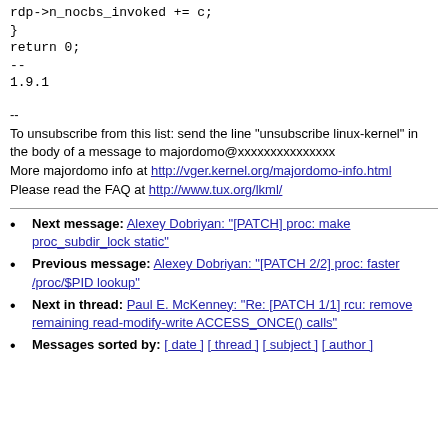rdp->n_nocbs_invoked += c;
}
return 0;
--
1.9.1
--
To unsubscribe from this list: send the line "unsubscribe linux-kernel" in
the body of a message to majordomo@xxxxxxxxxxxxxxx
More majordomo info at http://vger.kernel.org/majordomo-info.html
Please read the FAQ at http://www.tux.org/lkml/
Next message: Alexey Dobriyan: "[PATCH] proc: make proc_subdir_lock static"
Previous message: Alexey Dobriyan: "[PATCH 2/2] proc: faster /proc/$PID lookup"
Next in thread: Paul E. McKenney: "Re: [PATCH 1/1] rcu: remove remaining read-modify-write ACCESS_ONCE() calls"
Messages sorted by: [ date ] [ thread ] [ subject ] [ author ]